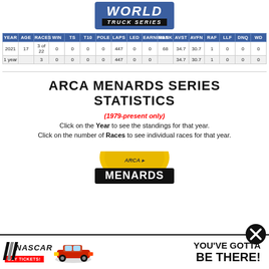[Figure (logo): NASCAR Camping World Truck Series logo - blue rounded rectangle with WORLD text and TRUCK SERIES banner]
| YEAR | AGE | RACES | WIN | TS | T10 | POLE | LAPS | LED | EARNINGS | RANK | AVST | AVFN | RAF | LLF | DNQ | WD |
| --- | --- | --- | --- | --- | --- | --- | --- | --- | --- | --- | --- | --- | --- | --- | --- | --- |
| 2021 | 17 | 3 of 22 | 0 | 0 | 0 | 0 | 447 | 0 | 0 | 68 | 34.7 | 30.7 | 1 | 0 | 0 | 0 |
| 1 year |  | 3 | 0 | 0 | 0 | 0 | 447 | 0 | 0 |  | 34.7 | 30.7 | 1 | 0 | 0 | 0 |
ARCA MENARDS SERIES STATISTICS
(1979-present only)
Click on the Year to see the standings for that year.
Click on the number of Races to see individual races for that year.
[Figure (logo): ARCA Menards Series logo - partial view at bottom]
[Figure (infographic): NASCAR BUY TICKETS YOU'VE GOTTA BE THERE! advertisement bar at the bottom]